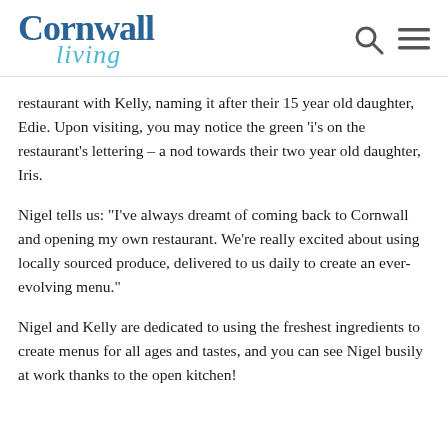Cornwall Living
restaurant with Kelly, naming it after their 15 year old daughter, Edie. Upon visiting, you may notice the green 'i's on the restaurant's lettering – a nod towards their two year old daughter, Iris.
Nigel tells us: "I've always dreamt of coming back to Cornwall and opening my own restaurant. We're really excited about using locally sourced produce, delivered to us daily to create an ever-evolving menu."
Nigel and Kelly are dedicated to using the freshest ingredients to create menus for all ages and tastes, and you can see Nigel busily at work thanks to the open kitchen!